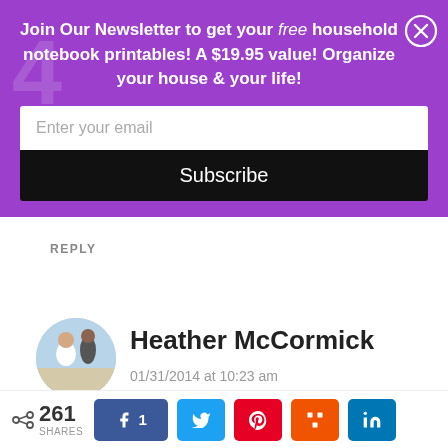[Figure (screenshot): Newsletter signup popup banner with purple background. Title text: 'Join Our Newsletter to get your free household notebook printables! A $19.95 value! Organize your house & your life!' with an email input field and a black Subscribe button. A close (X) button is in the top right.]
REPLY
[Figure (photo): Circular avatar photo of Heather McCormick — a couple on a beach, woman in white dress.]
Heather McCormick
01/31/2014 at 10:23 am
< 261 SHARES | Facebook 1 | Twitter | Pinterest | Mix | LinkedIn